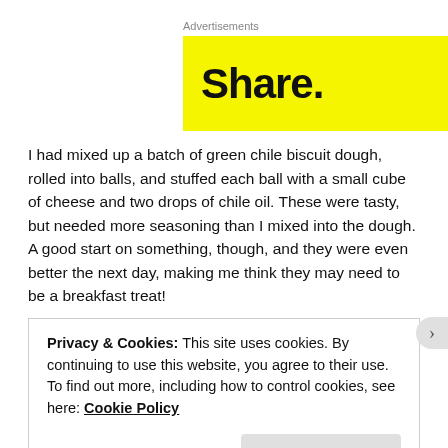Advertisements
[Figure (other): Yellow advertisement banner with bold black text reading 'Share.']
I had mixed up a batch of green chile biscuit dough, rolled into balls, and stuffed each ball with a small cube of cheese and two drops of chile oil. These were tasty, but needed more seasoning than I mixed into the dough. A good start on something, though, and they were even better the next day, making me think they may need to be a breakfast treat!
Privacy & Cookies: This site uses cookies. By continuing to use this website, you agree to their use.
To find out more, including how to control cookies, see here: Cookie Policy
Close and accept